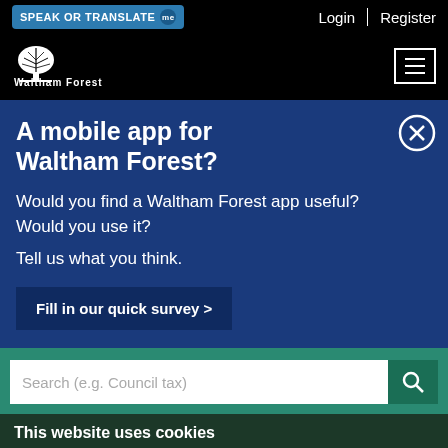SPEAK OR TRANSLATE me | Login | Register
[Figure (logo): Waltham Forest council logo — white tree icon above 'Waltham Forest' text on black background, with hamburger menu icon on right]
A mobile app for Waltham Forest?
Would you find a Waltham Forest app useful? Would you use it?
Tell us what you think.
Fill in our quick survey >
Search (e.g. Council tax)
This website uses cookies